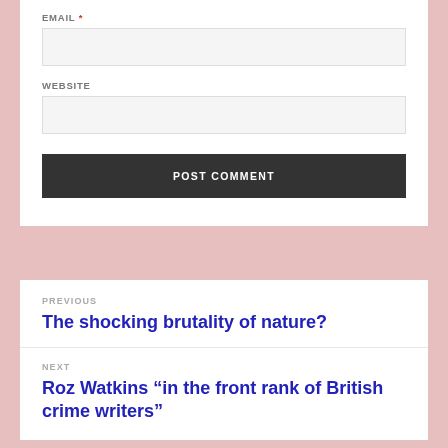EMAIL *
WEBSITE
POST COMMENT
PREVIOUS
The shocking brutality of nature?
NEXT
Roz Watkins “in the front rank of British crime writers”